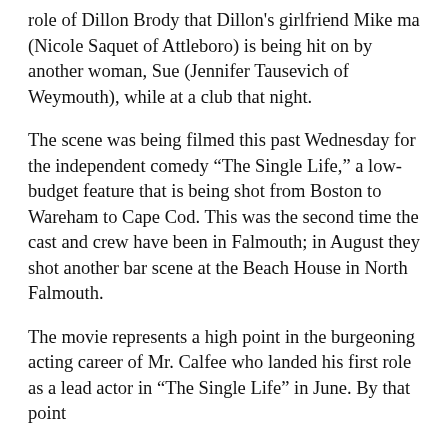role of Dillon Brody that Dillon's girlfriend Mike ma (Nicole Saquet of Attleboro) is being hit on by another woman, Sue (Jennifer Tausevich of Weymouth), while at a club that night.
The scene was being filmed this past Wednesday for the independent comedy “The Single Life,” a low-budget feature that is being shot from Boston to Wareham to Cape Cod. This was the second time the cast and crew have been in Falmouth; in August they shot another bar scene at the Beach House in North Falmouth.
The movie represents a high point in the burgeoning acting career of Mr. Calfee who landed his first role as a lead actor in “The Single Life” in June. By that point